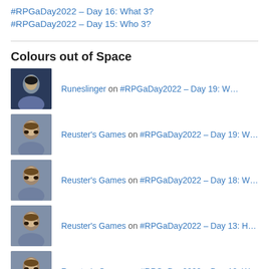#RPGaDay2022 – Day 16: What 3?
#RPGaDay2022 – Day 15: Who 3?
Colours out of Space
Runeslinger on #RPGaDay2022 – Day 19: W…
Reuster's Games on #RPGaDay2022 – Day 19: W…
Reuster's Games on #RPGaDay2022 – Day 18: W…
Reuster's Games on #RPGaDay2022 – Day 13: H…
Reuster's Games on #RPGaDay2022 – Day 12: W…
Runeslinger on #RPGaDay2022 – Day 11: W…
Bletherad Public Library